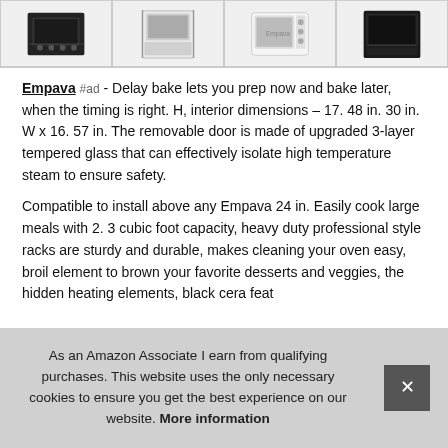[Figure (photo): Row of four product thumbnail images of ovens/microwaves in bordered cells]
Empava #ad - Delay bake lets you prep now and bake later, when the timing is right. H, interior dimensions – 17. 48 in. 30 in. W x 16. 57 in. The removable door is made of upgraded 3-layer tempered glass that can effectively isolate high temperature steam to ensure safety.
Compatible to install above any Empava 24 in. Easily cook large meals with 2. 3 cubic foot capacity, heavy duty professional style racks are sturdy and durable, makes cleaning your oven easy, broil element to brown your favorite desserts and veggies, the hidden heating elements, black cera... feat...
As an Amazon Associate I earn from qualifying purchases. This website uses the only necessary cookies to ensure you get the best experience on our website. More information